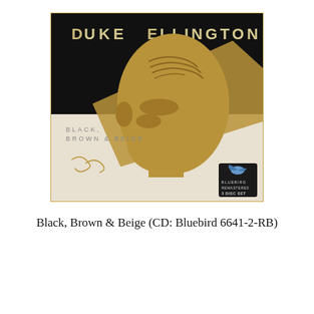[Figure (photo): Album cover for Duke Ellington 'Black, Brown & Beige' — a 3 disc set CD on Bluebird label (Bluebird 6641-2-RB). Dark/black background with large golden illustrated portrait of Duke Ellington's face in profile. Text at top reads 'DUKE ELLINGTON'. Text in lower portion reads 'BLACK, BROWN & BEIGE'. Bluebird logo and '3 DISC SET' badge visible lower right. Signature visible lower left.]
Black, Brown & Beige (CD: Bluebird 6641-2-RB)